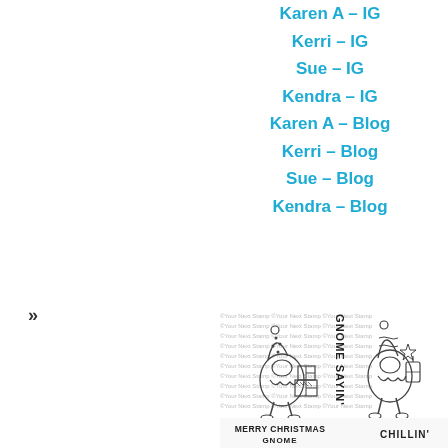Karen A – IG
Kerri – IG
Sue – IG
Kendra – IG
Karen A – Blog
Kerri – Blog
Sue – Blog
Kendra – Blog
»
[Figure (illustration): Two Christmas gnomes carrying gifts and a lantern with text 'GNOME SAYIN' and stamps showing 'MERRY CHRISTMAS GNOME' and 'CHILLIN'' with watermark pattern '@Your Next Stamp']